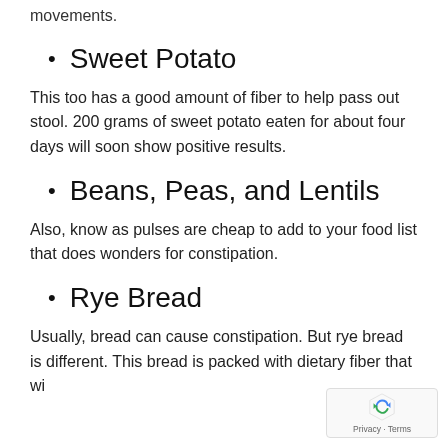movements.
Sweet Potato
This too has a good amount of fiber to help pass out stool. 200 grams of sweet potato eaten for about four days will soon show positive results.
Beans, Peas, and Lentils
Also, know as pulses are cheap to add to your food list that does wonders for constipation.
Rye Bread
Usually, bread can cause constipation. But rye bread is different. This bread is packed with dietary fiber that wi... help